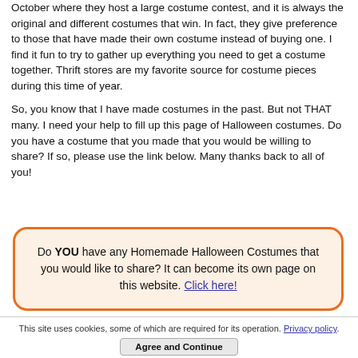October where they host a large costume contest, and it is always the original and different costumes that win. In fact, they give preference to those that have made their own costume instead of buying one. I find it fun to try to gather up everything you need to get a costume together. Thrift stores are my favorite source for costume pieces during this time of year.

So, you know that I have made costumes in the past. But not THAT many. I need your help to fill up this page of Halloween costumes. Do you have a costume that you made that you would be willing to share? If so, please use the link below. Many thanks back to all of you!
Do YOU have any Homemade Halloween Costumes that you would like to share? It can become its own page on this website. Click here!
This site uses cookies, some of which are required for its operation. Privacy policy.
Agree and Continue